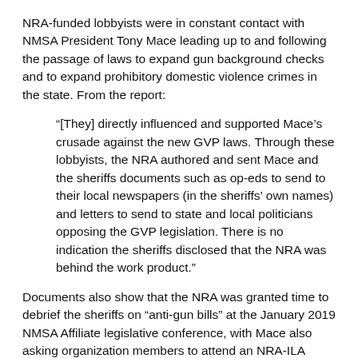NRA-funded lobbyists were in constant contact with NMSA President Tony Mace leading up to and following the passage of laws to expand gun background checks and to expand prohibitory domestic violence crimes in the state. From the report:
“[They] directly influenced and supported Mace’s crusade against the new GVP laws. Through these lobbyists, the NRA authored and sent Mace and the sheriffs documents such as op-eds to send to their local newspapers (in the sheriffs’ own names) and letters to send to state and local politicians opposing the GVP legislation. There is no indication the sheriffs disclosed that the NRA was behind the work product.”
Documents also show that the NRA was granted time to debrief the sheriffs on “anti-gun bills” at the January 2019 NMSA Affiliate legislative conference, with Mace also asking organization members to attend an NRA-ILA legislative…